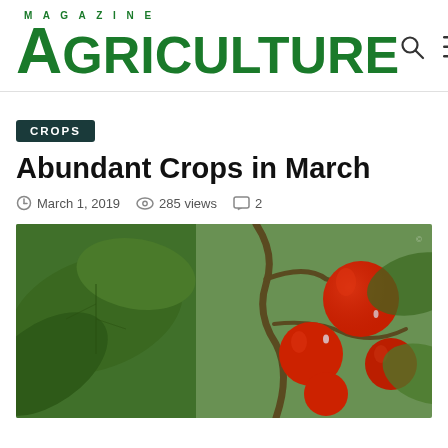MAGAZINE AGRICULTURE
CROPS
Abundant Crops in March
March 1, 2019  285 views  2
[Figure (photo): Close-up photo of red tomatoes growing on a vine with green leaves]